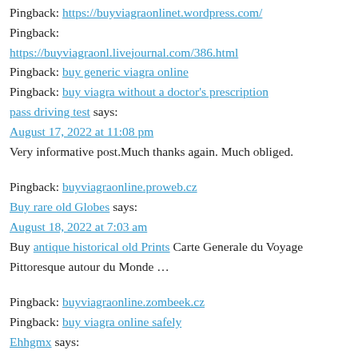Pingback: https://buyviagraonlinet.wordpress.com/
Pingback: https://buyviagraonl.livejournal.com/386.html
Pingback: buy generic viagra online
Pingback: buy viagra without a doctor's prescription pass driving test says: August 17, 2022 at 11:08 pm Very informative post.Much thanks again. Much obliged.
Pingback: buyviagraonline.proweb.cz Buy rare old Globes says: August 18, 2022 at 7:03 am Buy antique historical old Prints Carte Generale du Voyage Pittoresque autour du Monde ...
Pingback: buyviagraonline.zombeek.cz
Pingback: buy viagra online safely
Ehhgmx says: August 18, 2022 at 1:48 pm